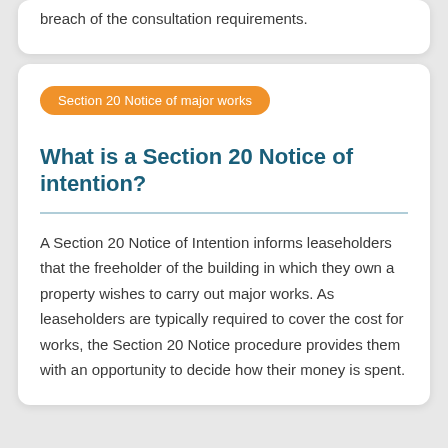breach of the consultation requirements.
Section 20 Notice of major works
What is a Section 20 Notice of intention?
A Section 20 Notice of Intention informs leaseholders that the freeholder of the building in which they own a property wishes to carry out major works. As leaseholders are typically required to cover the cost for works, the Section 20 Notice procedure provides them with an opportunity to decide how their money is spent.